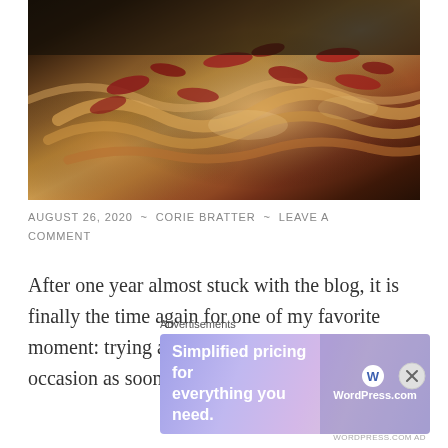[Figure (photo): Close-up photo of a pasta or noodle dish topped with crispy bacon or meat crumbles on a plate, dark background]
AUGUST 26, 2020 ~ CORIE BRATTER ~ LEAVE A COMMENT
After one year almost stuck with the blog, it is finally the time again for one of my favorite moment: trying a new restaurant! I got this occasion as soon as back
Advertisements
[Figure (screenshot): WordPress.com advertisement banner: 'Simplified pricing for everything you need.' with WordPress.com logo]